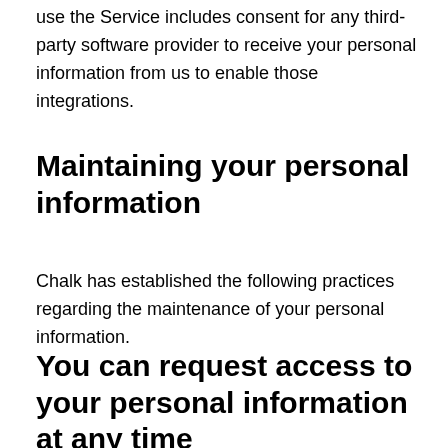use the Service includes consent for any third-party software provider to receive your personal information from us to enable those integrations.
Maintaining your personal information
Chalk has established the following practices regarding the maintenance of your personal information.
You can request access to your personal information at any time